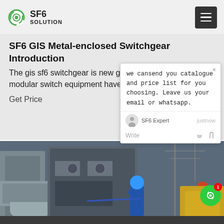SF6 SOLUTION
SF6 GIS Metal-enclosed Switchgear Introduction
The gis sf6 switchgear is new generated small size modular switch equipment have
Get Price
we cansend you catalogue and price list for you choosing.
Leave us your email or whatsapp.
SF6 Expert   justnow
Write
[Figure (photo): Workers in blue safety gear working on large industrial SF6 gas-insulated switchgear equipment at an outdoor substation]